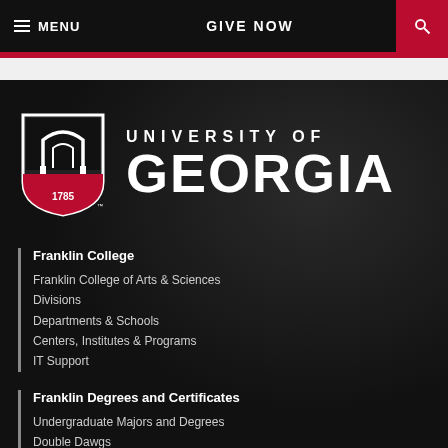MENU | GIVE NOW | Search
[Figure (logo): University of Georgia shield logo with arch and year 1785, alongside UNIVERSITY OF GEORGIA wordmark in white on dark background]
Franklin College
Franklin College of Arts & Sciences
Divisions
Departments & Schools
Centers, Institutes & Programs
IT Support
Franklin Degrees and Certificates
Undergraduate Majors and Degrees
Double Dawgs
Graduate Degrees
Graduate Admissions Portals